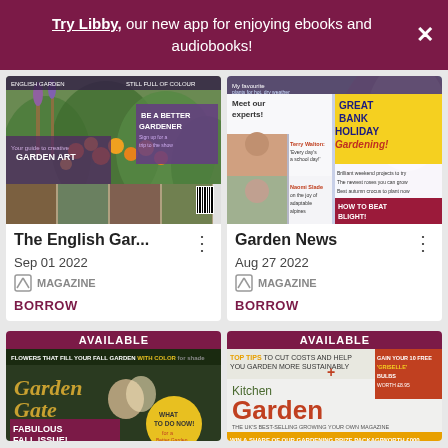Try Libby, our new app for enjoying ebooks and audiobooks!
[Figure (screenshot): Cover of The English Garden magazine, Sep 01 2022, showing a lush garden with colorful flowers and text 'Be a Better Gardener', 'Garden Art']
The English Gar...
Sep 01 2022
MAGAZINE
BORROW
[Figure (screenshot): Cover of Garden News magazine, Aug 27 2022, showing 'Great Bank Holiday Gardening!', 'Meet our experts!', 'How to Beat Blight!']
Garden News
Aug 27 2022
MAGAZINE
BORROW
[Figure (screenshot): Cover of Garden Gate magazine, showing 'Flowers that fill your fall garden with color', 'Fabulous Fall Issue!', 'What to do now!' with AVAILABLE banner]
[Figure (screenshot): Cover of Kitchen Garden magazine showing 'Top Tips to cut costs and help you garden more sustainably', with AVAILABLE banner]